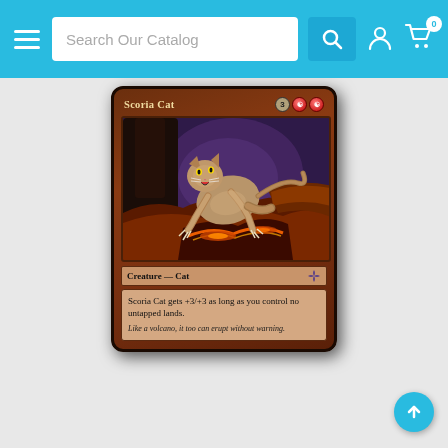Search Our Catalog
[Figure (illustration): Magic: The Gathering card 'Scoria Cat'. Red card with mana cost 3RR. Shows a ferocious cat creature leaping over volcanic lava terrain against a dark purple/blue background. Card type: Creature — Cat. Rules text: Scoria Cat gets +3/+3 as long as you control no untapped lands. Flavor text: Like a volcano, it too can erupt without warning.]